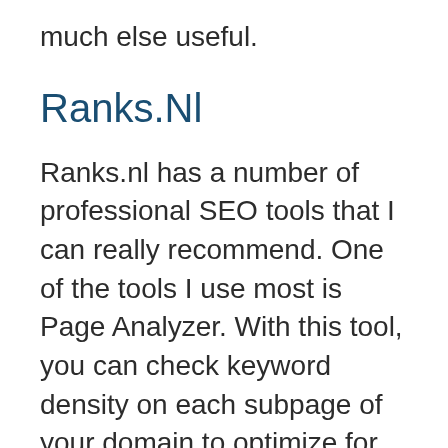much else useful.
Ranks.Nl
Ranks.nl has a number of professional SEO tools that I can really recommend. One of the tools I use most is Page Analyzer. With this tool, you can check keyword density on each subpage of your domain to optimize for keywords or phrases. If the outreach expert you are planning to use is at all professional, they